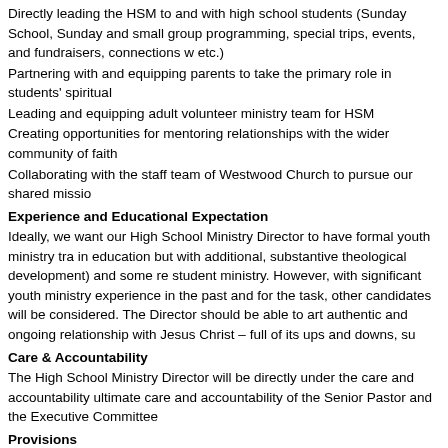Directly leading the HSM to and with high school students (Sunday School, Sunday and small group programming, special trips, events, and fundraisers, connections w etc.)
Partnering with and equipping parents to take the primary role in students' spiritual
Leading and equipping adult volunteer ministry team for HSM
Creating opportunities for mentoring relationships with the wider community of faith
Collaborating with the staff team of Westwood Church to pursue our shared missio
Experience and Educational Expectation
Ideally, we want our High School Ministry Director to have formal youth ministry tra in education but with additional, substantive theological development) and some re student ministry. However, with significant youth ministry experience in the past an for the task, other candidates will be considered. The Director should be able to art authentic and ongoing relationship with Jesus Christ – full of its ups and downs, su
Care & Accountability
The High School Ministry Director will be directly under the care and accountability ultimate care and accountability of the Senior Pastor and the Executive Committee
Provisions
Competitive salary and benefits package (details upon request)
Opportunities and budget for professional development
Monthly appointments with the Senior Pastor for coaching, feedback, discussion, s spiritual growth
Westwood Church
If you are familiar with Westwood Church and know that you are someone who can